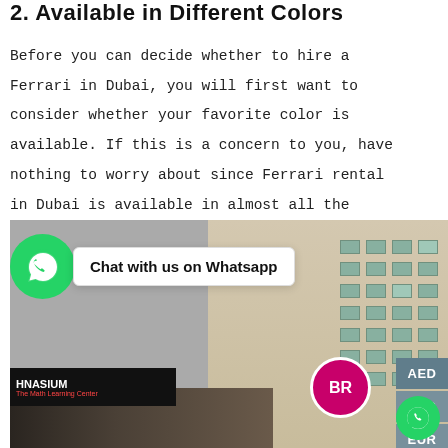2. Available in Different Colors
Before you can decide whether to hire a Ferrari in Dubai, you will first want to consider whether your favorite color is available. If this is a concern to you, have nothing to worry about since Ferrari rental in Dubai is available in almost all the colors that appeal to your eyes. You can rent a Ferrari in Dubai that blends well with your clothing or the occasion you wish to attend. This will make you look a standout among the rest.
[Figure (screenshot): WhatsApp chat widget overlay with green WhatsApp circle icon and white bubble saying 'Chat with us on Whatsapp', overlaid on a street-level photo showing storefronts including Hnasium learning center and Baskin-Robbins in what appears to be Dubai]
AED
USD
EUR
GBP